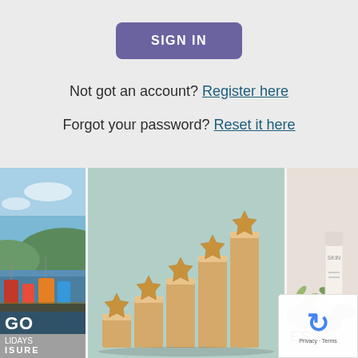SIGN IN
Not got an account? Register here
Forgot your password? Reset it here
[Figure (photo): Left panel: partially visible photo of a marina with colorful boats on water with blue sky, with text overlay 'GO' and 'ISURE' at bottom]
[Figure (photo): Center panel: photo of five golden wooden star figures arranged in ascending staircase pattern on wooden blocks against a mint/teal background, representing a 5-star rating concept]
[Figure (photo): Right panel: partially visible photo of skincare/beauty products with eucalyptus leaves, with partial text 'ES' visible]
[Figure (other): reCAPTCHA widget with recycling arrow icon and 'Privacy - Terms' text]